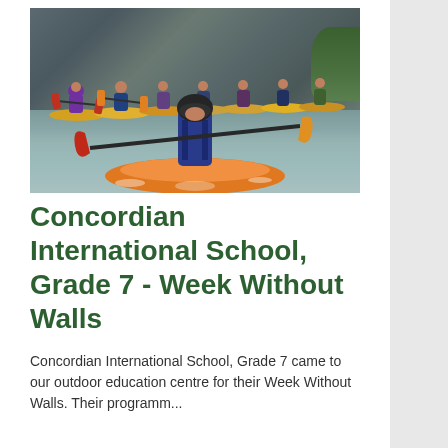[Figure (photo): Group of students in kayaks paddling on a river, with rocky cliffs in the background and green trees on the right. The foreground shows a main paddler in a blue life vest and dark helmet on an orange kayak, with many more kayakers visible behind in yellow and orange kayaks.]
Concordian International School, Grade 7 - Week Without Walls
Concordian International School, Grade 7 came to our outdoor education centre for their Week Without Walls. Their programm...